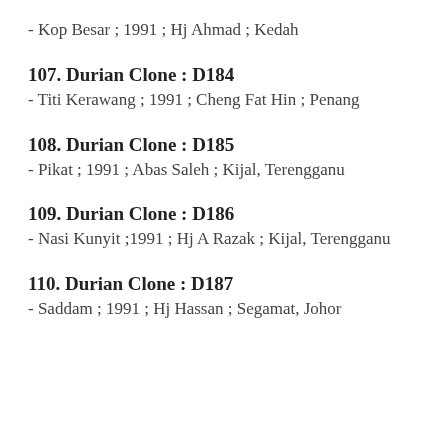- Kop Besar ; 1991 ; Hj Ahmad ; Kedah
107. Durian Clone : D184
- Titi Kerawang ; 1991 ; Cheng Fat Hin ; Penang
108. Durian Clone : D185
- Pikat ; 1991 ; Abas Saleh ; Kijal, Terengganu
109. Durian Clone : D186
- Nasi Kunyit ;1991 ; Hj A Razak ; Kijal, Terengganu
110. Durian Clone : D187
- Saddam ; 1991 ; Hj Hassan ; Segamat, Johor